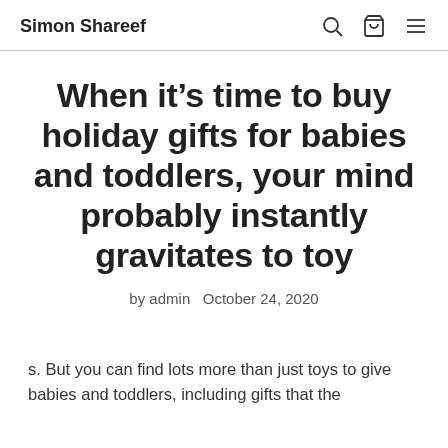Simon Shareef
When it’s time to buy holiday gifts for babies and toddlers, your mind probably instantly gravitates to toy
by admin   October 24, 2020
s. But you can find lots more than just toys to give babies and toddlers, including gifts that the